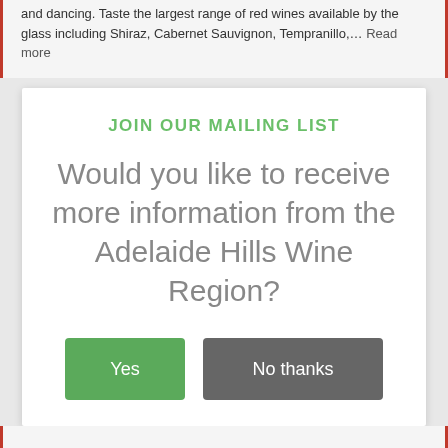and dancing. Taste the largest range of red wines available by the glass including Shiraz, Cabernet Sauvignon, Tempranillo,… Read more
JOIN OUR MAILING LIST
Would you like to receive more information from the Adelaide Hills Wine Region?
Yes
No thanks